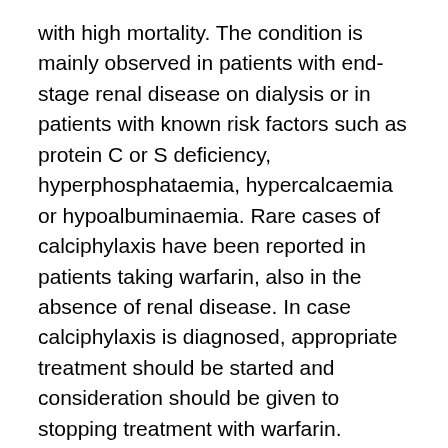with high mortality. The condition is mainly observed in patients with end-stage renal disease on dialysis or in patients with known risk factors such as protein C or S deficiency, hyperphosphataemia, hypercalcaemia or hypoalbuminaemia. Rare cases of calciphylaxis have been reported in patients taking warfarin, also in the absence of renal disease. In case calciphylaxis is diagnosed, appropriate treatment should be started and consideration should be given to stopping treatment with warfarin.
Peptic ulceration
Due to a high risk of bleeding, patients with history of peptic ulcers should be treated with caution. Such patients should be reviewed